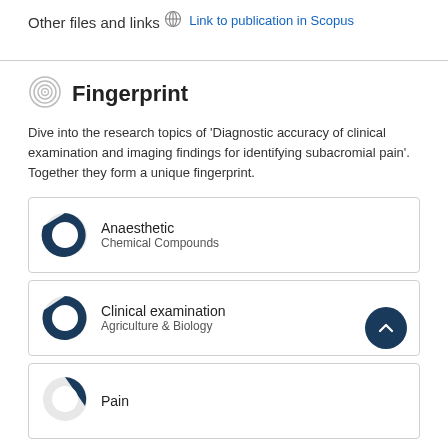Other files and links
Link to publication in Scopus
Fingerprint
Dive into the research topics of 'Diagnostic accuracy of clinical examination and imaging findings for identifying subacromial pain'. Together they form a unique fingerprint.
Anaesthetic
Chemical Compounds
Clinical examination
Agriculture & Biology
Pain